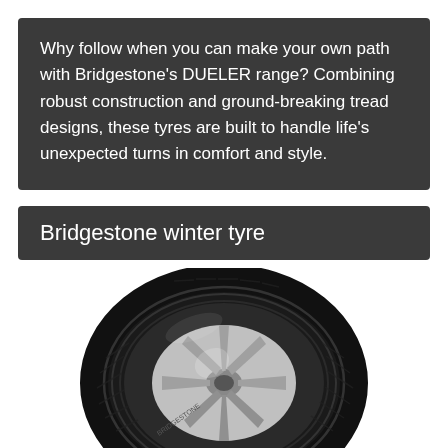Why follow when you can make your own path with Bridgestone's DUELER range? Combining robust construction and ground-breaking tread designs, these tyres are built to handle life's unexpected turns in comfort and style.
Bridgestone winter tyre
[Figure (photo): A Bridgestone car tyre shown in three-quarter view, with a silver alloy wheel visible, on a white background.]